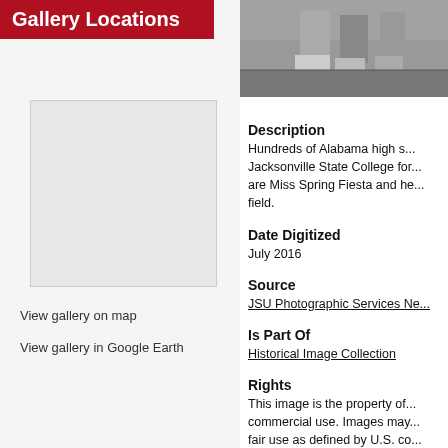Gallery Locations
[Figure (map): Map placeholder showing gallery location]
View gallery on map
View gallery in Google Earth
[Figure (photo): Black and white photograph showing people standing outdoors, appears to be a Spring Fiesta event at Jacksonville State College]
Description
Hundreds of Alabama high s... Jacksonville State College for... are Miss Spring Fiesta and he... field.
Date Digitized
July 2016
Source
JSU Photographic Services Ne...
Is Part Of
Historical Image Collection
Rights
This image is the property of... commercial use. Images may... fair use as defined by U.S. co... Users of these images are as...